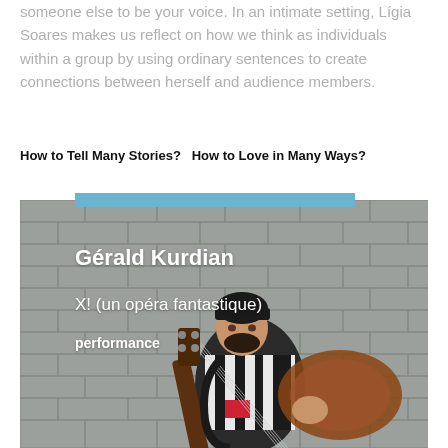someone else to be your voice. In an intimate setting, Lígia Soares makes us reflect on how we think as individuals within a group by using ordinary sentences to create connections between herself and audience members.
How to Tell Many Stories?   How to Love in Many Ways?
[Figure (photo): A man holding an electric guitar standing in front of a grey brick wall. Text overlay reads: Gérald Kurdian / X! (un opéra fantastique) / performance. A blue horizontal bar appears above the photo.]